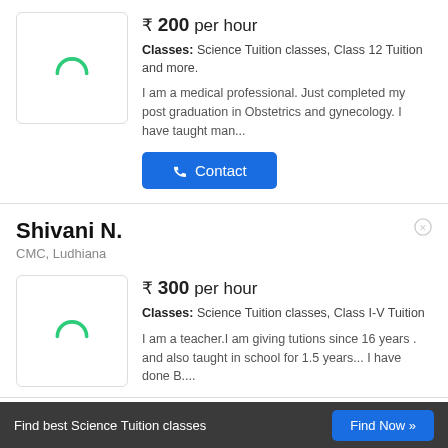₹ 200 per hour
Classes: Science Tuition classes, Class 12 Tuition and more.
I am a medical professional. Just completed my post graduation in Obstetrics and gynecology. I have taught man...
Shivani N.
CMC, Ludhiana
₹ 300 per hour
Classes: Science Tuition classes, Class I-V Tuition
I am a teacher.I am giving tutions since 16 years . and also taught in school for 1.5 years... I have done B....
Find best Science Tuition classes